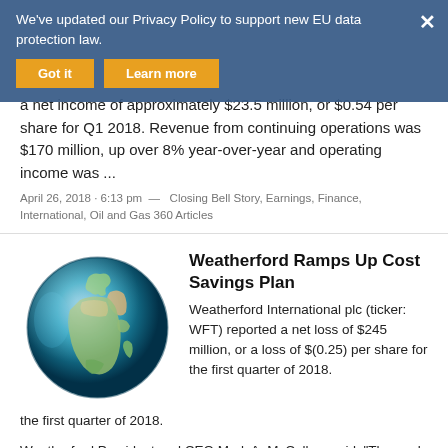a net income of approximately $23.5 million, or $0.54 per share for Q1 2018. Revenue from continuing operations was $170 million, up over 8% year-over-year and operating income was ...
April 26, 2018 - 6:13 pm  —  Closing Bell Story, Earnings, Finance, International, Oil and Gas 360 Articles
[Figure (illustration): 3D rendered globe showing Africa and Europe from space]
Weatherford Ramps Up Cost Savings Plan
Weatherford International plc (ticker: WFT) reported a net loss of $245 million, or a loss of $(0.25) per share for the first quarter of 2018.
Weatherford President and CEO Mark A. McCollum said, "The goals we have set forth for ..."
April 24, 2018 - 3:53 pm  —  Acquisitions and Divestitures (A&D), Closing Bell
We've updated our Privacy Policy to support new EU data protection law.